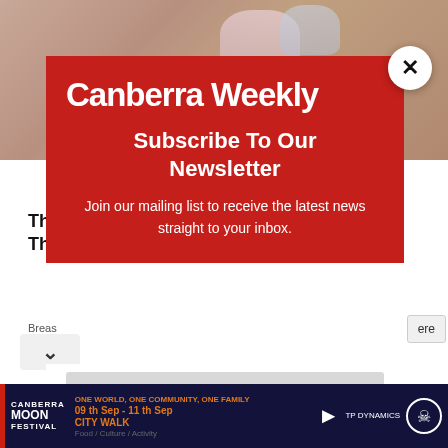[Figure (photo): Background photo of hands clasped together, magazine/article page behind the modal popup]
Canberra Weekly
Subscribe To Our Newsletter
Join our mailing list to receive the latest news straight to your inbox.
Email
SUBSCRIBE!
[Figure (infographic): Canberra Moon Festival advertisement banner: ONE WORLD, ONE COMMUNITY, ONE FAMILY | 09 th Sep - 11 th Sep | CITY WALK | Food / Culture / Activity | TP DYNAMICS logo and globe icon]